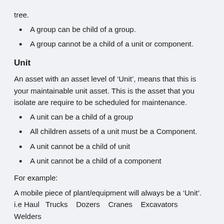tree.
A group can be child of a group.
A group cannot be a child of a unit or component.
Unit
An asset with an asset level of ‘Unit’, means that this is your maintainable unit asset. This is the asset that you isolate are require to be scheduled for maintenance.
A unit can be a child of a group
All children assets of a unit must be a Component.
A unit cannot be a child of unit
A unit cannot be a child of a component
For example:
A mobile piece of plant/equipment will always be a ‘Unit’. i.e Haul Trucks   Dozers   Cranes   Excavators   Welders